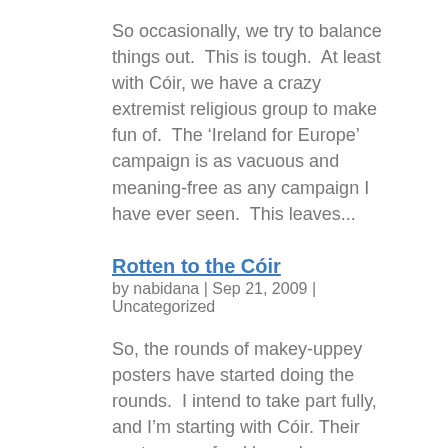So occasionally, we try to balance things out.  This is tough.  At least with Cóir, we have a crazy extremist religious group to make fun of.  The ‘Ireland for Europe’ campaign is as vacuous and meaning-free as any campaign I have ever seen.  This leaves...
Rotten to the Cóir
by nabidana | Sep 21, 2009 | Uncategorized
So, the rounds of makey-uppey posters have started doing the rounds.  I intend to take part fully, and I’m starting with Cóir. Their posters are, frankly, no less accurate than these.  I hope you’ll enjoy them. [nggallery id=7] A lawyer friend of mine with...